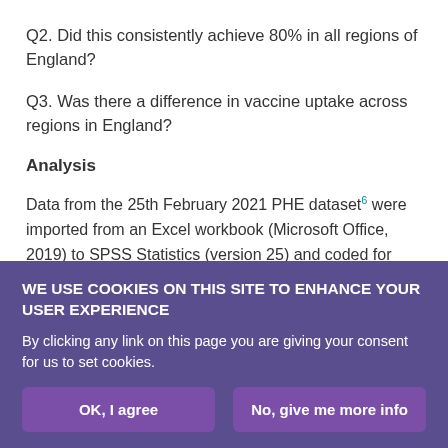Q2. Did this consistently achieve 80% in all regions of England?
Q3. Was there a difference in vaccine uptake across regions in England?
Analysis
Data from the 25th February 2021 PHE dataset⁶ were imported from an Excel workbook (Microsoft Office, 2019) to SPSS Statistics (version 25) and coded for analysis. Errors were checked and none detected following import. A new variable, the percentage first vaccine uptake by care home workers in England, was calculated
WE USE COOKIES ON THIS SITE TO ENHANCE YOUR USER EXPERIENCE
By clicking any link on this page you are giving your consent for us to set cookies.
OK, I agree
No, give me more info